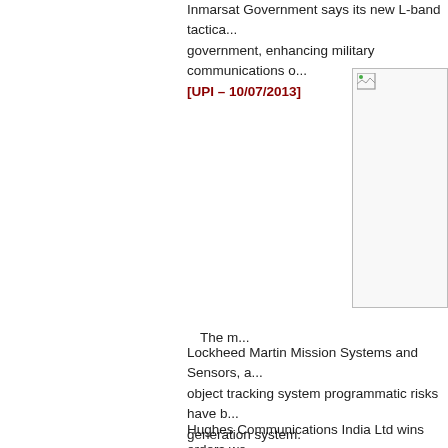Inmarsat Government says its new L-band tactica... government, enhancing military communications o...
[UPI – 10/07/2013]
[Figure (photo): Broken/missing image placeholder with small icon in top-left corner]
The m...
Lockheed Martin Mission Systems and Sensors, a... object tracking system programmatic risks have b... generation system.
[Space News – 10/09/2013]
Hughes Communications India Ltd wins orders wo... satellite-based solutions to banks and other inst...